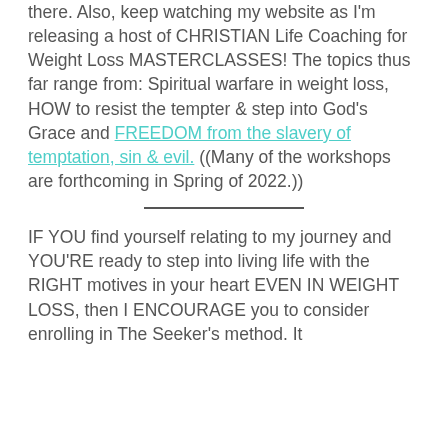there.  Also, keep watching my website as I'm releasing a host of CHRISTIAN Life Coaching for Weight Loss MASTERCLASSES! The topics thus far range from: Spiritual warfare in weight loss, HOW to resist the tempter & step into God's Grace and FREEDOM from the slavery of temptation, sin & evil. ((Many of the workshops are forthcoming in Spring of 2022.))
IF YOU find yourself relating to my journey and YOU'RE ready to step into living life with the RIGHT motives in your heart EVEN IN WEIGHT LOSS, then I ENCOURAGE you to consider enrolling in The Seeker's method. It